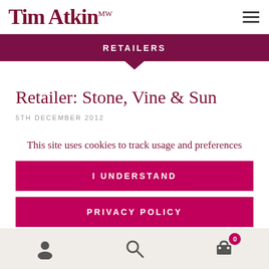Tim Atkin MW
RETAILERS
Retailer: Stone, Vine & Sun
5TH DECEMBER 2012
This site uses cookies to track usage and preferences
I UNDERSTAND
PRIVACY POLICY
0